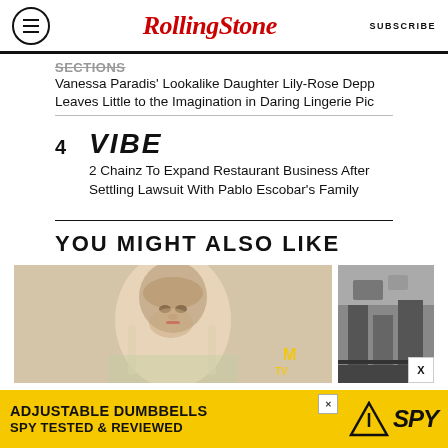Rolling Stone | SUBSCRIBE
Vanessa Paradis' Lookalike Daughter Lily-Rose Depp Leaves Little to the Imagination in Daring Lingerie Pic
4 VIBE
2 Chainz To Expand Restaurant Business After Settling Lawsuit With Pablo Escobar's Family
YOU MIGHT ALSO LIKE
[Figure (photo): Photo of Taylor Swift at what appears to be an awards event, smiling at camera with red lips, wearing a jeweled neckline, in color.]
[Figure (photo): Black and white photo of a city street scene.]
[Figure (infographic): Advertisement banner: ADJUSTABLE DUMBBELLS SPY TESTED & REVIEWED with yellow background and SPY logo]